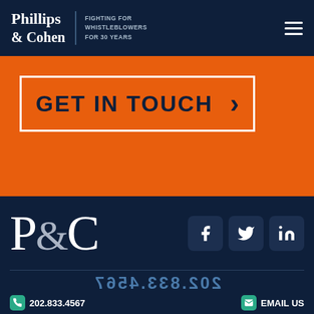[Figure (logo): Phillips & Cohen law firm logo with tagline 'Fighting for Whistleblowers for 30 Years' on dark navy header bar with hamburger menu]
GET IN TOUCH >
[Figure (logo): P&C large serif logo on dark navy footer background with Facebook, Twitter, LinkedIn social media icons]
202.833.4567
202.833.4567
EMAIL US